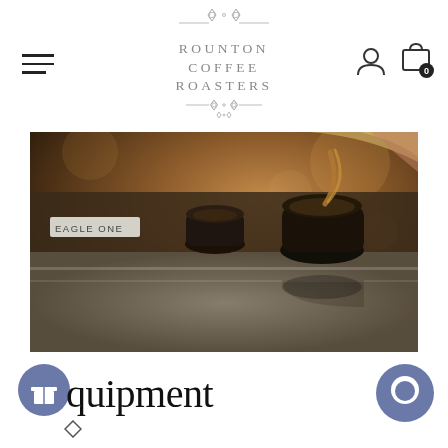[Figure (logo): Rounton Coffee Roasters logo with decorative diamond/cross ornament above and below the text, centered at top]
[Figure (photo): Close-up photo of espresso being poured into a dark cup on a shiny metal espresso machine surface. Machine label reads EAGLE ONE. Warm amber tones, bokeh background.]
Equipment
[Figure (illustration): Blue circle with white gift/present icon (UI button)]
[Figure (illustration): Blue circle with white chat bubble icon (UI button)]
[Figure (illustration): Small diamond/rhombus outline icon at bottom left]